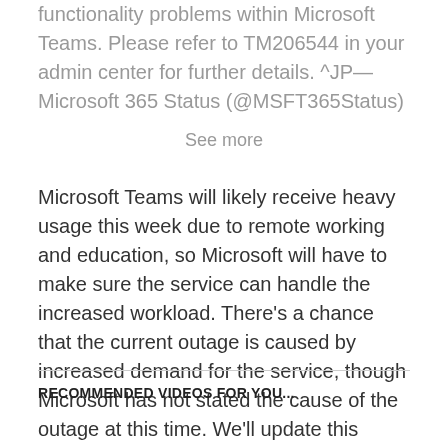functionality problems within Microsoft Teams. Please refer to TM206544 in your admin center for further details. ^JP— Microsoft 365 Status (@MSFT365Status)
See more
Microsoft Teams will likely receive heavy usage this week due to remote working and education, so Microsoft will have to make sure the service can handle the increased workload. There's a chance that the current outage is caused by increased demand for the service, though Microsoft has not stated the cause of the outage at this time. We'll update this article with any details Microsoft reveals on the current outage.
RECOMMENDED VIDEOS FOR YOU...